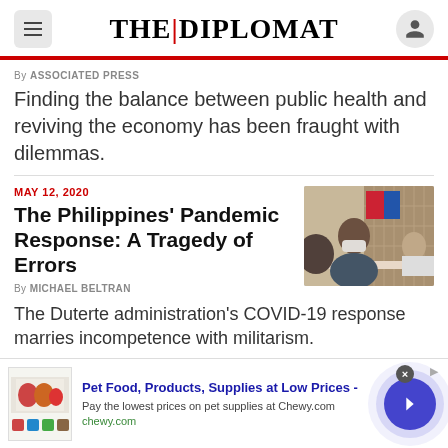THE DIPLOMAT
By ASSOCIATED PRESS
Finding the balance between public health and reviving the economy has been fraught with dilemmas.
MAY 12, 2020
The Philippines' Pandemic Response: A Tragedy of Errors
By MICHAEL BELTRAN
[Figure (photo): A person wearing a mask seated at a table in an official setting, with flags in background]
The Duterte administration's COVID-19 response marries incompetence with militarism.
OCTOBER 14, 2021
[Figure (photo): Outdoor scene, partial view]
Pet Food, Products, Supplies at Low Prices - Pay the lowest prices on pet supplies at Chewy.com chewy.com